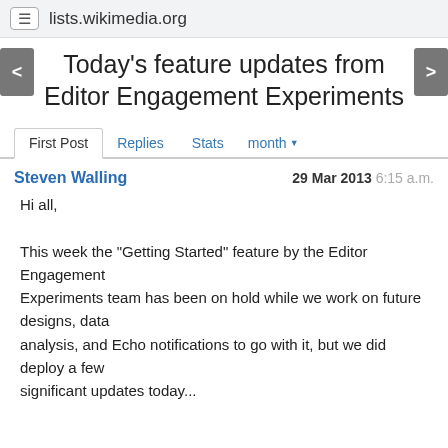lists.wikimedia.org
Today's feature updates from Editor Engagement Experiments
First Post  Replies  Stats  month
Steven Walling  29 Mar 2013 6:15 a.m.
Hi all,

This week the "Getting Started" feature by the Editor Engagement
Experiments team has been on hold while we work on future designs, data
analysis, and Echo notifications to go with it, but we did deploy a few
significant updates today...